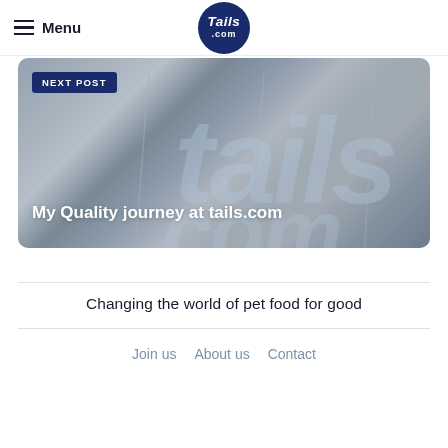Menu | Tails.com
[Figure (photo): Hero image showing branded tails.com packaging bags with a 'NEXT POST' badge overlay, and the text 'My Quality journey at tails.com' displayed in white over the image.]
Changing the world of pet food for good
Join us   About us   Contact